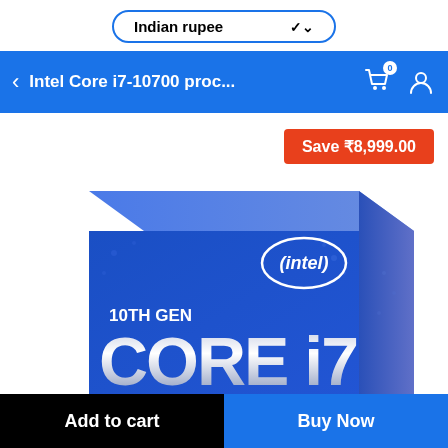Indian rupee
Intel Core i7-10700 proc...
Save ₹8,999.00
[Figure (photo): Intel Core i7 10th Gen processor retail box, blue packaging with 'intel' logo, '10TH GEN' and 'CORE i7' text in large silver letters]
Add to cart
Buy Now